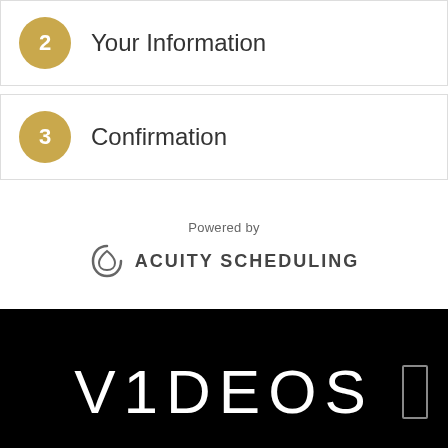2 Your Information
3 Confirmation
[Figure (logo): Acuity Scheduling logo with stylized S icon and text]
Powered by ACUITY SCHEDULING
VIDEOS